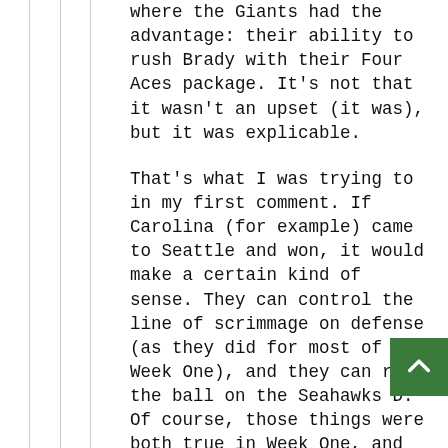where the Giants had the advantage: their ability to rush Brady with their Four Aces package. It's not that it wasn't an upset (it was), but it was explicable.
That's what I was trying to in my first comment. If Carolina (for example) came to Seattle and won, it would make a certain kind of sense. They can control the line of scrimmage on defense (as they did for most of Week One), and they can run the ball on the Seahawks D. Of course, those things were both true in Week One, and they were at home, and the Seahawks still won, so...